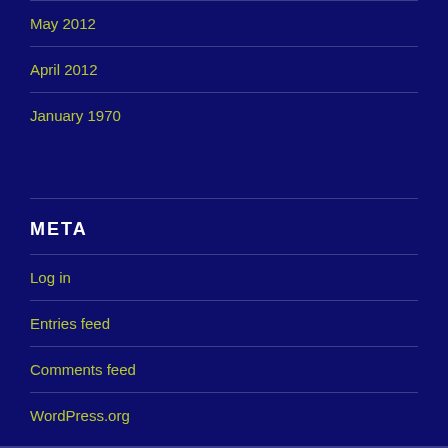May 2012
April 2012
January 1970
META
Log in
Entries feed
Comments feed
WordPress.org